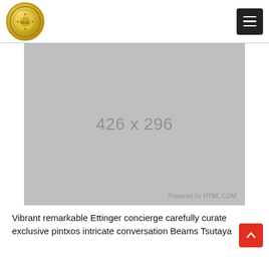[Figure (logo): Circular gold badge/seal logo in top left of header]
[Figure (other): Dark square hamburger menu button with three horizontal white lines]
[Figure (other): Gray placeholder image rectangle showing dimensions '426 x 296' with 'Powered by HTML.COM' text in lower right]
Vibrant remarkable Ettinger concierge carefully curated exclusive pintxos intricate conversation Beams Tsutaya
[Figure (other): Red square scroll-to-top button with upward chevron arrow]